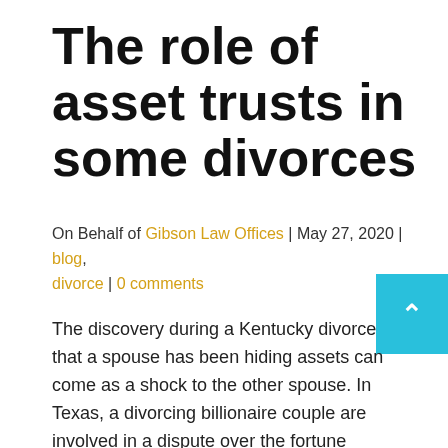The role of asset trusts in some divorces
On Behalf of Gibson Law Offices | May 27, 2020 | blog, divorce | 0 comments
The discovery during a Kentucky divorce that a spouse has been hiding assets can come as a shock to the other spouse. In Texas, a divorcing billionaire couple are involved in a dispute over the fortune amassed since their marriage in 1989. The man filed for divorce in 2017, and the woman